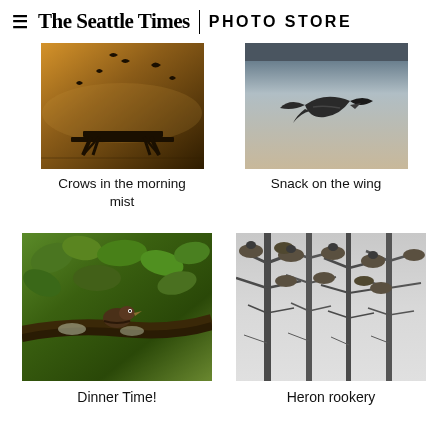≡ The Seattle Times | PHOTO STORE
[Figure (photo): Crows flying in morning mist over a picnic table near water with warm amber/golden tones]
Crows in the morning mist
[Figure (photo): A bird in flight carrying food, photographed against a pale misty background]
Snack on the wing
[Figure (photo): A small bird perched among leafy green branches on a mossy tree]
Dinner Time!
[Figure (photo): Black and white photo of heron nests in bare winter trees with herons visible]
Heron rookery